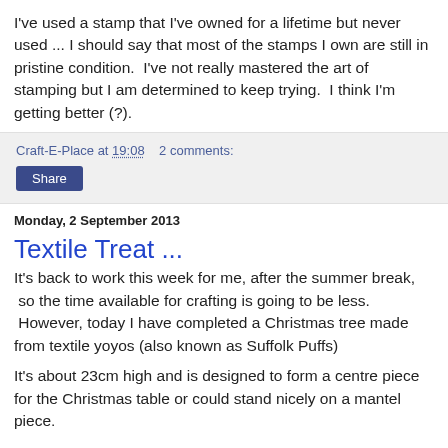I've used a stamp that I've owned for a lifetime but never used ... I should say that most of the stamps I own are still in pristine condition.  I've not really mastered the art of stamping but I am determined to keep trying.  I think I'm getting better (?).
Craft-E-Place at 19:08   2 comments:
Share
Monday, 2 September 2013
Textile Treat ...
It's back to work this week for me, after the summer break,  so the time available for crafting is going to be less.  However, today I have completed a Christmas tree made from textile yoyos (also known as Suffolk Puffs)
It's about 23cm high and is designed to form a centre piece for the Christmas table or could stand nicely on a mantel piece.